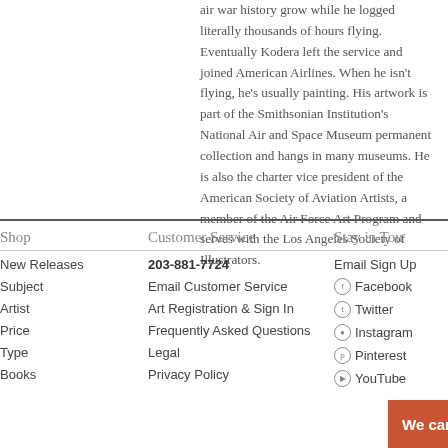air war history grow while he logged literally thousands of hours flying. Eventually Kodera left the service and joined American Airlines. When he isn't flying, he's usually painting. His artwork is part of the Smithsonian Institution's National Air and Space Museum permanent collection and hangs in many museums. He is also the charter vice president of the American Society of Aviation Artists, a member of the Air Force Art Program and serves with the Los Angeles Society of Illustrators.
Shop
Customer Service
Stay in Touch
New Releases
203-881-7724
Email Sign Up
Subject
Email Customer Service
Facebook
Artist
Art Registration & Sign In
Twitter
Price
Frequently Asked Questions
Instagram
Type
Legal
Pinterest
Books
Privacy Policy
YouTube
We can help. Click here